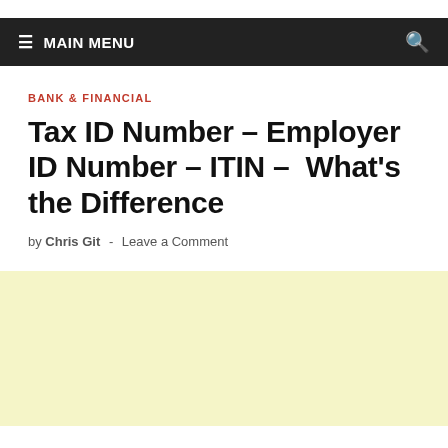≡ MAIN MENU
BANK & FINANCIAL
Tax ID Number – Employer ID Number – ITIN – What's the Difference
by Chris Git - Leave a Comment
[Figure (other): Light yellow advertisement or content placeholder area]